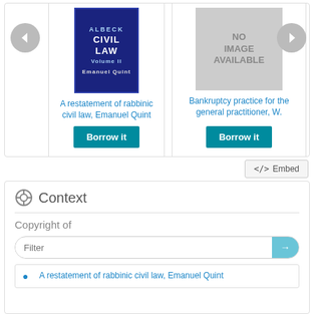[Figure (screenshot): Book carousel showing two book items: 'A restatement of rabbinic civil law, Emanuel Quint' with blue cover and 'Bankruptcy practice for the general practitioner, W.' with no image available. Both have 'Borrow it' buttons. Left and right navigation arrows visible.]
A restatement of rabbinic civil law, Emanuel Quint
Bankruptcy practice for the general practitioner, W.
</> Embed
Context
Copyright of
Filter
A restatement of rabbinic civil law, Emanuel Quint